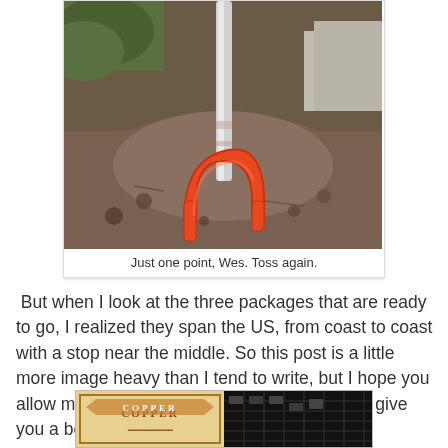[Figure (photo): A photograph of an orange horseshoe leaning against a metal stake/pole embedded in a mound of dark soil/dirt. The horseshoe appears to have scored a ringer or near-ringer. Green grass and pavement visible in background.]
Just one point, Wes. Toss again.
But when I look at the three packages that are ready to go, I realized they span the US, from coast to coast with a stop near the middle. So this post is a little more image heavy than I tend to write, but I hope you allow me to display a lot of pictures. Maybe I'll give you a bonus at the end.
[Figure (photo): Partial view of two items side by side: left appears to be a decorative/vintage label with text (possibly 'COPPER' or similar), right appears to be a dark background with some object or text.]